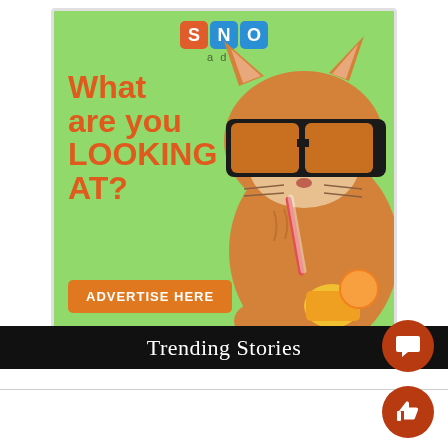[Figure (illustration): SNO ads advertisement banner with green background, orange cat wearing sunglasses and drinking from a straw, text 'What are you LOOKING AT?' in red-orange, and an orange 'ADVERTISE HERE' button.]
Trending Stories
[Figure (illustration): Dark red circular icon with white speech bubble / comment symbol]
[Figure (illustration): Dark red circular icon with white thumbs up symbol]